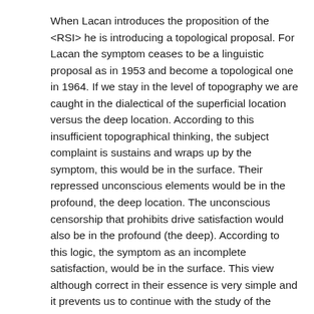When Lacan introduces the proposition of the <RSI> he is introducing a topological proposal. For Lacan the symptom ceases to be a linguistic proposal as in 1953 and become a topological one in 1964. If we stay in the level of topography we are caught in the dialectical of the superficial location versus the deep location. According to this insufficient topographical thinking, the subject complaint is sustains and wraps up by the symptom, this would be in the surface. Their repressed unconscious elements would be in the profound, the deep location. The unconscious censorship that prohibits drive satisfaction would also be in the profound (the deep). According to this logic, the symptom as an incomplete satisfaction, would be in the surface. This view although correct in their essence is very simple and it prevents us to continue with the study of the symptom. For that reason it is necessary to introduce and to enlarge this study with the topological view. That is to say to work with the concepts of the <RSI> and it psychic structures. Here it is where these theoretical innovations of Lacan may have an effect in the